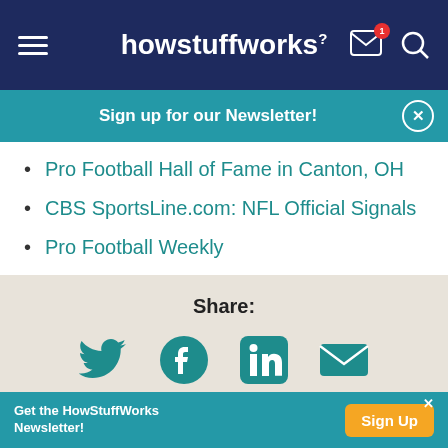howstuffworks
Sign up for our Newsletter!
Pro Football Hall of Fame in Canton, OH
CBS SportsLine.com: NFL Official Signals
Pro Football Weekly
Share:
Citation
Get the HowStuffWorks Newsletter! Sign Up